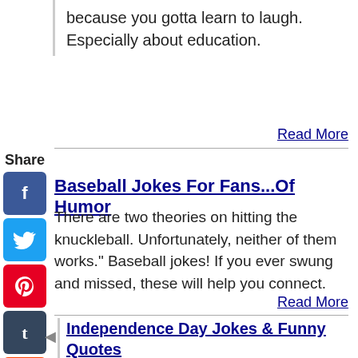because you gotta learn to laugh. Especially about education.
Read More
Share
[Figure (other): Social media share icons: Facebook, Twitter, Pinterest, Tumblr, Reddit, WhatsApp, Messenger]
Baseball Jokes For Fans...Of Humor
There are two theories on hitting the knuckleball. Unfortunately, neither of them works." Baseball jokes! If you ever swung and missed, these will help you connect.
Read More
Independence Day Jokes & Funny Quotes
"Guys with an eye patch and three fingers sell the best